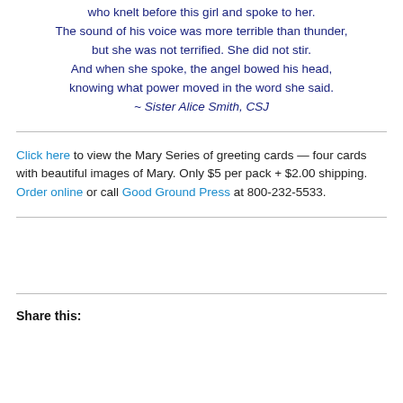who knelt before this girl and spoke to her.
The sound of his voice was more terrible than thunder,
but she was not terrified. She did not stir.
And when she spoke, the angel bowed his head,
knowing what power moved in the word she said.
~ Sister Alice Smith, CSJ
Click here to view the Mary Series of greeting cards — four cards with beautiful images of Mary. Only $5 per pack + $2.00 shipping. Order online or call Good Ground Press at 800-232-5533.
Share this: